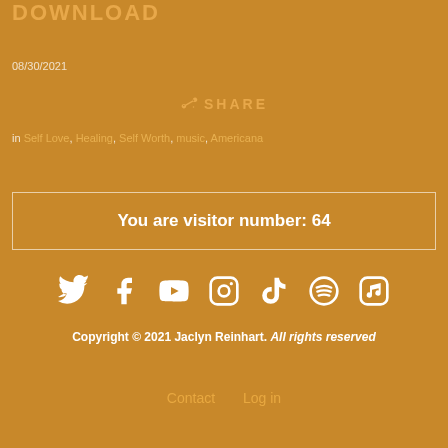DOWNLOAD
08/30/2021
SHARE
in Self Love, Healing, Self Worth, music, Americana
You are visitor number: 64
[Figure (illustration): Social media icons: Twitter, Facebook, YouTube, Instagram, TikTok, Spotify, Apple Music]
Copyright © 2021 Jaclyn Reinhart. All rights reserved
Contact   Log in